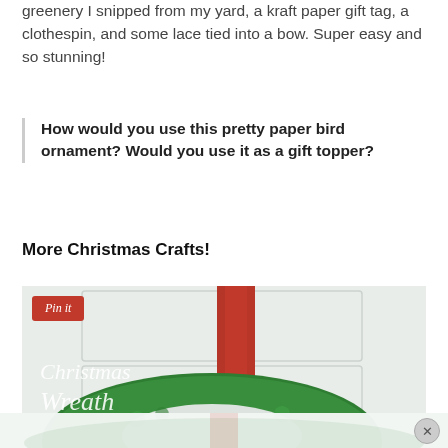greenery I snipped from my yard, a kraft paper gift tag, a clothespin, and some lace tied into a bow. Super easy and so stunning!
How would you use this pretty paper bird ornament? Would you use it as a gift topper?
More Christmas Crafts!
[Figure (photo): Photo of a Christmas wreath made of green boxwood with a red ribbon, hanging on a white door. Overlaid text reads 'Christmas Wreath' in italic white font. A 'Pin it' button is in the upper left corner. A semi-transparent ad overlay with a close button appears at the bottom.]